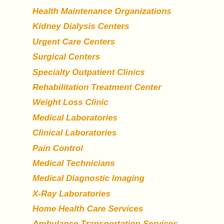Health Maintenance Organizations
Kidney Dialysis Centers
Urgent Care Centers
Surgical Centers
Specialty Outpatient Clinics
Rehabilitation Treatment Center
Weight Loss Clinic
Medical Laboratories
Clinical Laboratories
Pain Control
Medical Technicians
Medical Diagnostic Imaging
X-Ray Laboratories
Home Health Care Services
Ambulance Transportation Services
Blood Banks & Centers
Health & Allied Services
Medical Services Organization